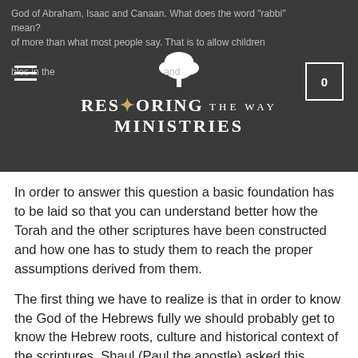Restoring the Way Ministries
In order to answer this question a basic foundation has to be laid so that you can understand better how the Torah and the other scriptures have been constructed and how one has to study them to reach the proper assumptions derived from them.
The first thing we have to realize is that in order to know the God of the Hebrews fully we should probably get to know the Hebrew roots, culture and historical context of the scriptures. Shaul (Paul the apostle) asked this question: What benefit is it to being a Jew and he goes on to answer this question by saying that the “oracles of God” or the holy scriptures were entrusted to them. It’s true! The Bible was written by Jews or Hebrews. All of the prophets were Jewish,